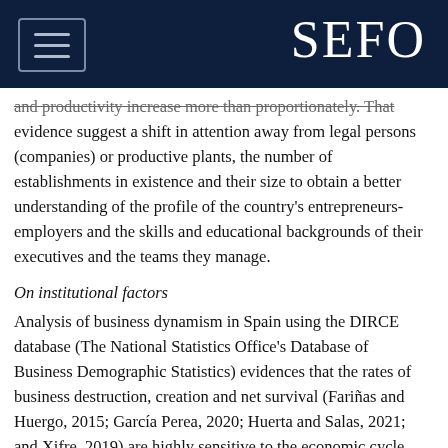SEFO
and productivity increase more than proportionately. That evidence suggest a shift in attention away from legal persons (companies) or productive plants, the number of establishments in existence and their size to obtain a better understanding of the profile of the country's entrepreneurs-employers and the skills and educational backgrounds of their executives and the teams they manage.
On institutional factors
Analysis of business dynamism in Spain using the DIRCE database (The National Statistics Office's Database of Business Demographic Statistics) evidences that the rates of business destruction, creation and net survival (Fariñas and Huergo, 2015; García Perea, 2020; Huerta and Salas, 2021; and Xifre, 2019) are highly sensitive to the economic cycle. This shows that the creation and closure of businesses acts as